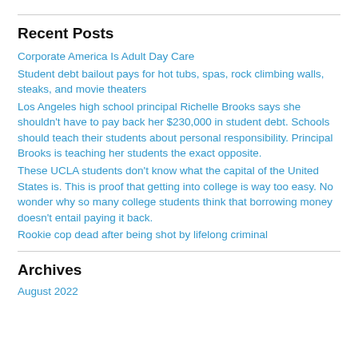Recent Posts
Corporate America Is Adult Day Care
Student debt bailout pays for hot tubs, spas, rock climbing walls, steaks, and movie theaters
Los Angeles high school principal Richelle Brooks says she shouldn’t have to pay back her $230,000 in student debt. Schools should teach their students about personal responsibility. Principal Brooks is teaching her students the exact opposite.
These UCLA students don’t know what the capital of the United States is. This is proof that getting into college is way too easy. No wonder why so many college students think that borrowing money doesn’t entail paying it back.
Rookie cop dead after being shot by lifelong criminal
Archives
August 2022